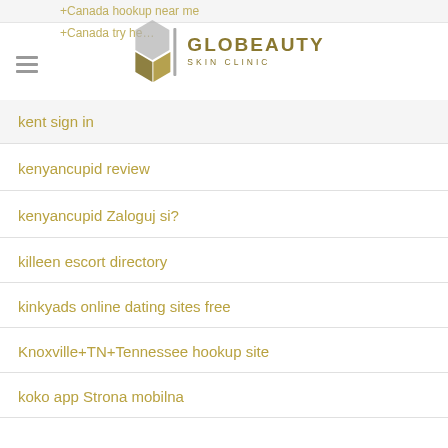GLOBEAUTY SKIN CLINIC
kent sign in
kenyancupid review
kenyancupid Zaloguj si?
killeen escort directory
kinkyads online dating sites free
Knoxville+TN+Tennessee hookup site
koko app Strona mobilna
kokoapp dating site
kontrola-zapasu Seznamka
Korean Cupid zkuste to
Korean Dating websites